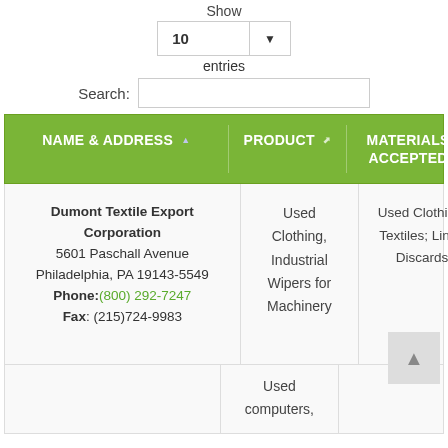Show
10 entries
Search:
| NAME & ADDRESS | PRODUCT | MATERIALS ACCEPTED |
| --- | --- | --- |
| Dumont Textile Export Corporation
5601 Paschall Avenue
Philadelphia, PA 19143-5549
Phone: (800) 292-7247
Fax: (215)724-9983 | Used Clothing, Industrial Wipers for Machinery | Used Clothing, Textiles; Linen Discards |